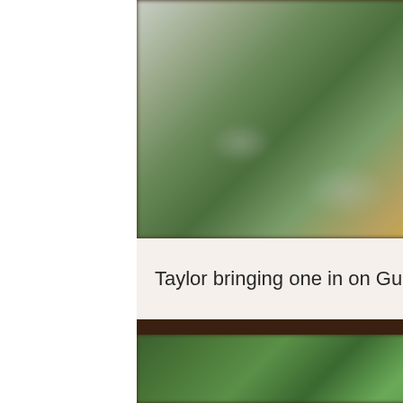[Figure (photo): Blurred outdoor fishing photo showing a person holding a large fish, with green foliage and water in the background.]
Taylor bringing one in on Guide Zach's boat.
[Figure (photo): Blurred outdoor photo of a person wearing a cap, surrounded by green foliage, with a blue floating action button with three dots in the lower right.]